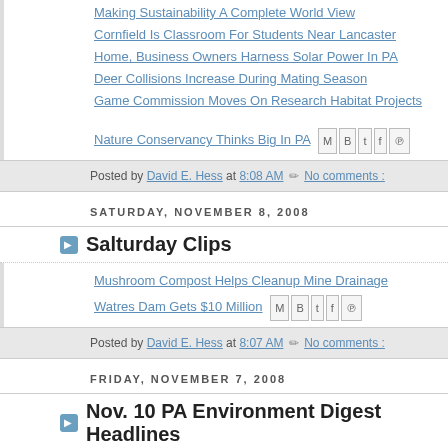Making Sustainability A Complete World View
Cornfield Is Classroom For Students Near Lancaster
Home, Business Owners Harness Solar Power In PA
Deer Collisions Increase During Mating Season
Game Commission Moves On Research Habitat Projects
Nature Conservancy Thinks Big In PA
Posted by David E. Hess at 8:08 AM  No comments :
SATURDAY, NOVEMBER 8, 2008
Salturday Clips
Mushroom Compost Helps Cleanup Mine Drainage
Watres Dam Gets $10 Million
Posted by David E. Hess at 8:07 AM  No comments :
FRIDAY, NOVEMBER 7, 2008
Nov. 10 PA Environment Digest Headlines
See www.PaEnvironmentDigest.com all articles. (Click here to Print entire Digest)